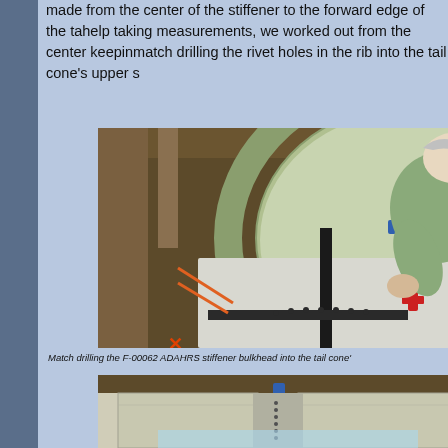made from the center of the stiffener to the forward edge of the ta... help taking measurements, we worked out from the center keepin... match drilling the rivet holes in the rib into the tail cone's upper s...
[Figure (photo): Person working on aircraft tail cone structure, match drilling the F-00062 ADAHRS stiffener bulkhead. Curved aluminum ribs visible with clamps and red tools.]
Match drilling the F-00062 ADAHRS stiffener bulkhead into the tail cone'...
[Figure (photo): Close-up view of aircraft tail cone panels with riveted stiffener components visible.]